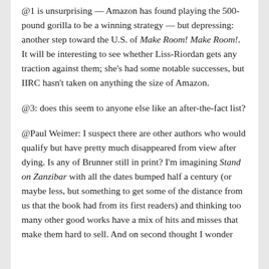@1 is unsurprising — Amazon has found playing the 500-pound gorilla to be a winning strategy — but depressing: another step toward the U.S. of Make Room! Make Room!. It will be interesting to see whether Liss-Riordan gets any traction against them; she's had some notable successes, but IIRC hasn't taken on anything the size of Amazon.
@3: does this seem to anyone else like an after-the-fact list?
@Paul Weimer: I suspect there are other authors who would qualify but have pretty much disappeared from view after dying. Is any of Brunner still in print? I'm imagining Stand on Zanzibar with all the dates bumped half a century (or maybe less, but something to get some of the distance from us that the book had from its first readers) and thinking too many other good works have a mix of hits and misses that make them hard to sell. And on second thought I wonder